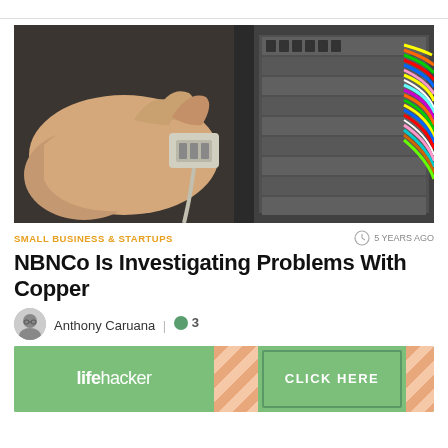[Figure (photo): A hand holding a network/telephone connector plug near a patch panel or distribution frame with many colored cables connected to it, visible on the right side of the image.]
SMALL BUSINESS & STARTUPS
5 YEARS AGO
NBNCo Is Investigating Problems With Copper
Anthony Caruana  |  3
[Figure (screenshot): Lifehacker advertisement banner with green background, diagonal stripe pattern, and CLICK HERE button.]